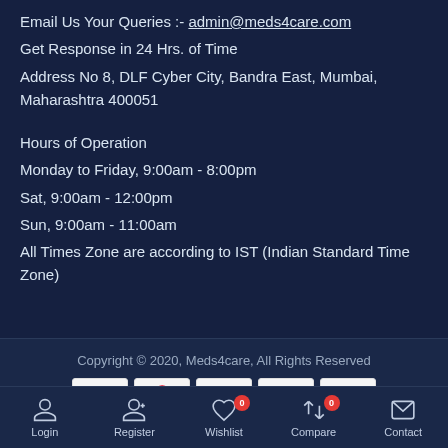Email Us Your Queries :- admin@meds4care.com
Get Response in 24 Hrs. of Time
Address No 8, DLF Cyber City, Bandra East, Mumbai, Maharashtra 400051
Hours of Operation
Monday to Friday, 9:00am - 8:00pm
Sat, 9:00am - 12:00pm
Sun, 9:00am - 11:00am
All Times Zone are according to IST (Indian Standard Time Zone)
Copyright © 2020, Meds4care, All Rights Reserved
Login | Register | Wishlist 0 | Compare 0 | Contact